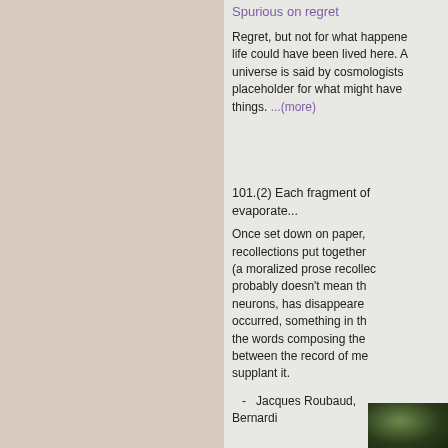Spurious on regret
Regret, but not for what happened, life could have been lived here. A universe is said by cosmologists placeholder for what might have things. ...(more)
101.(2) Each fragment of evaporate...
Once set down on paper, recollections put together (a moralized prose recollection probably doesn't mean the neurons, has disappeared occurred, something in the the words composing the between the record of me supplant it.
- Jacques Roubaud, Bernardi
[Figure (photo): Small dark green photo thumbnail of foliage or nature scene, positioned at bottom right]